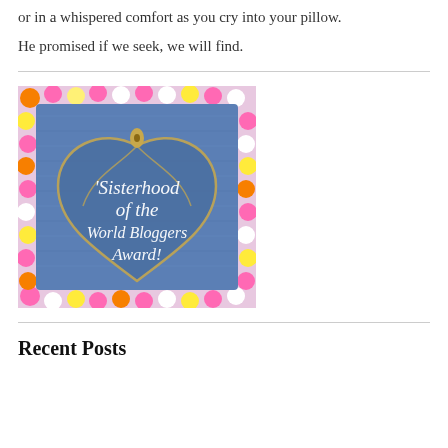or in a whispered comfort as you cry into your pillow.
He promised if we seek, we will find.
[Figure (photo): Sisterhood of the World Bloggers Award image — denim heart shape decorated with colorful flowers border, white text reading 'Sisterhood of the World Bloggers Award!']
Recent Posts